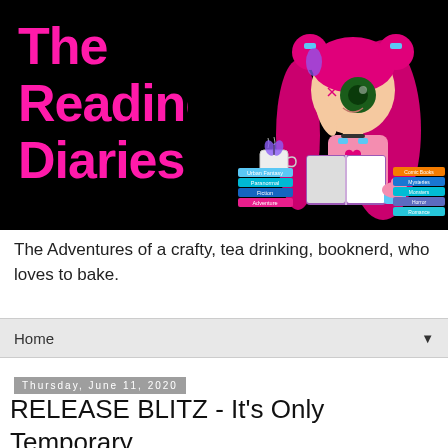[Figure (illustration): Blog header banner with black background. Left side shows 'The Reading Diaries' in large pink text. Right side features an anime-style cartoon girl with pink twintail hair, reading a book, sitting next to a stack of genre-labeled books and a cupcake. Genre labels include Urban Fantasy, Paranormal, Fiction, Adventure on the left stack, and Comic Books, Mysteries, Monsters, Horror, Romance on the right side.]
The Adventures of a crafty, tea drinking, booknerd, who loves to bake.
Home
Thursday, June 11, 2020
RELEASE BLITZ - It's Only Temporary by Lisa Suzanne